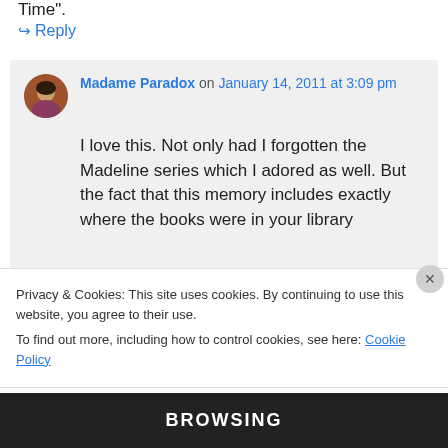Time".
↪ Reply
Madame Paradox on January 14, 2011 at 3:09 pm
I love this. Not only had I forgotten the Madeline series which I adored as well. But the fact that this memory includes exactly where the books were in your library
Privacy & Cookies: This site uses cookies. By continuing to use this website, you agree to their use. To find out more, including how to control cookies, see here: Cookie Policy
Close and accept